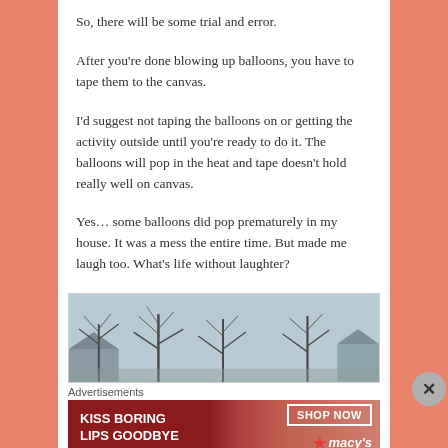So, there will be some trial and error.
After you're done blowing up balloons, you have to tape them to the canvas.
I'd suggest not taping the balloons on or getting the activity outside until you're ready to do it. The balloons will pop in the heat and tape doesn't hold really well on canvas.
Yes… some balloons did pop prematurely in my house. It was a mess the entire time. But made me laugh too. What's life without laughter?
[Figure (photo): Outdoor photo showing bare trees against a cloudy sky, with a house roof visible on the right side]
Advertisements
[Figure (photo): Macy's advertisement banner with red background showing 'KISS BORING LIPS GOODBYE' text with 'SHOP NOW' button and Macy's logo, featuring a woman's face with red lipstick]